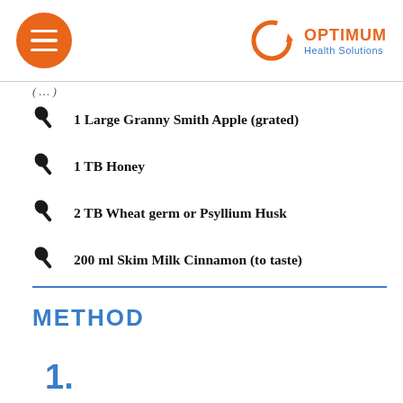Optimum Health Solutions
(partial title text cut off)
1 Large Granny Smith Apple (grated)
1 TB Honey
2 TB Wheat germ or Psyllium Husk
200 ml Skim Milk Cinnamon (to taste)
METHOD
1.